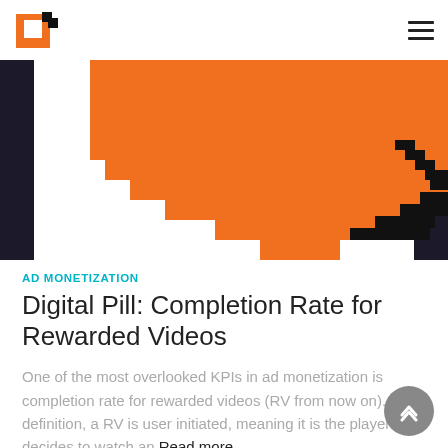[Logo] [Hamburger menu]
[Figure (illustration): Pixel-art style illustration with large orange geometric shape (resembling a thumbs up or speech bubble) on a dark background, with black pixel accents in the upper-right corner.]
AD MONETIZATION
Digital Pill: Completion Rate for Rewarded Videos
One of the most overlooked KPIs in ad monetization is completion rate for rewarded videos (RV from now on). By definition, a RV is user initiated, meaning it is the player who decides to watch an Read more...